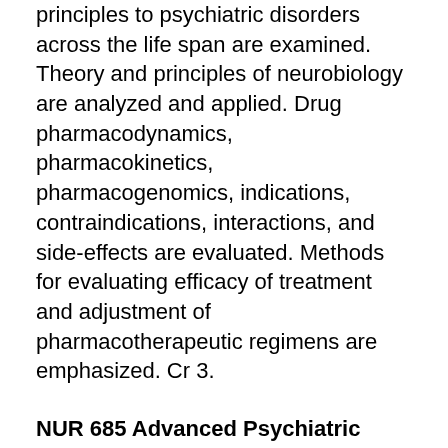principles to psychiatric disorders across the life span are examined. Theory and principles of neurobiology are analyzed and applied. Drug pharmacodynamics, pharmacokinetics, pharmacogenomics, indications, contraindications, interactions, and side-effects are evaluated. Methods for evaluating efficacy of treatment and adjustment of pharmacotherapeutic regimens are emphasized. Cr 3.
NUR 685 Advanced Psychiatric Mental Health Care of Children, Adolescents, and Families
This is the first of three sequential theory courses in the psychiatric mental health nurse practitioner concentration. The mental needs of children and adolescents in the context of families are explored. Developmental frameworks are utilized to examine common psychiatric diagnoses including symptom